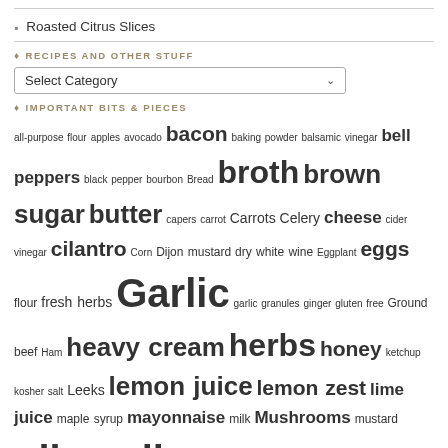Roasted Citrus Slices
RECIPES AND OTHER STUFF
Select Category
IMPORTANT BITS & PIECES
all-purpose flour apples avocado bacon baking powder balsamic vinegar bell peppers black pepper bourbon Bread broth brown sugar butter capers carrot Carrots Celery cheese cider vinegar cilantro Corn Dijon mustard dry white wine Eggplant eggs flour fresh herbs Garlic garlic granules ginger gluten free Ground beef Ham heavy cream herbs honey ketchup kosher salt Leeks lemon juice lemon zest lime juice maple syrup mayonnaise milk Mushrooms mustard olive oil olives onion Onions orange juice orange zest parmesan cheese pineapple Potatoes red onion rice flour salt Scallions sesame oil Shallots Shrimp sour cream soy sauce Spices